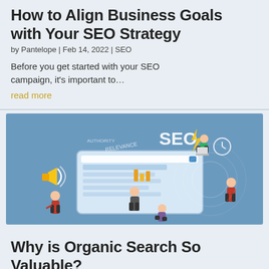How to Align Business Goals with Your SEO Strategy
by Pantelope | Feb 14, 2022 | SEO
Before you get started with your SEO campaign, it's important to…
read more
[Figure (illustration): SEO illustration showing cartoon people interacting with a large digital tablet/screen displaying search results, surrounded by SEO-related words like RELEVANCE, WEBSITE, AUTHORITY, and a clock, lightning bolt, and megaphone. Blue background.]
Why is Organic Search So Valuable?
by Pantelope | Feb 14, 2022 | SEO